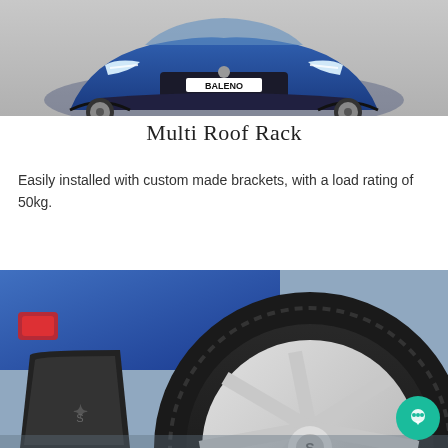[Figure (photo): Front view of a blue Suzuki Baleno car with BALENO badge visible on the front grille, photographed against a grey background.]
Multi Roof Rack
Easily installed with custom made brackets, with a load rating of 50kg.
[Figure (photo): Close-up of blue Suzuki Baleno showing rear mud flap with Suzuki logo and a silver alloy wheel, red reflector visible on the left.]